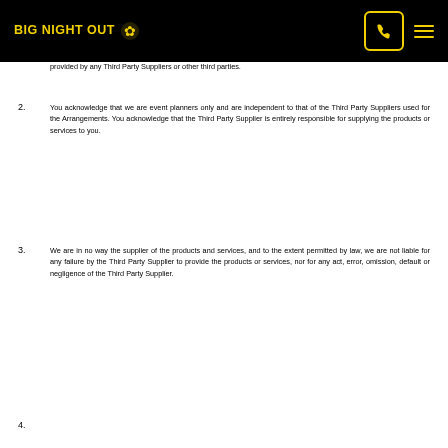BIG NIGHT OUT
provided by any Third Party Suppliers or other third parties.
2. You acknowledge that we are event planners only and are independent to that of the Third Party Suppliers used for the Arrangements. You acknowledge that the Third Party Supplier is entirely responsible for supplying the products or services to you.
3. We are in no way the supplier of the products and services, and to the extent permitted by law, we are not liable for any failure by the Third Party Supplier to provide the products or services, nor for any act, error, omission, default or negligence of the Third Party Supplier.
4.